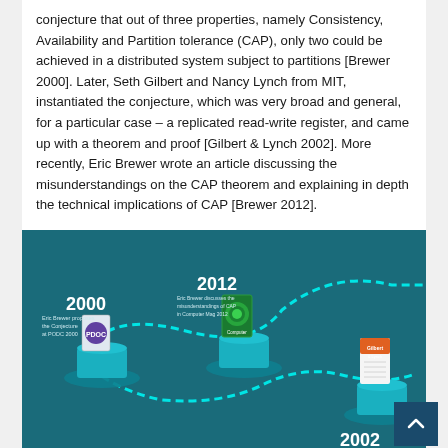conjecture that out of three properties, namely Consistency, Availability and Partition tolerance (CAP), only two could be achieved in a distributed system subject to partitions [Brewer 2000]. Later, Seth Gilbert and Nancy Lynch from MIT, instantiated the conjecture, which was very broad and general, for a particular case – a replicated read-write register, and came up with a theorem and proof [Gilbert & Lynch 2002]. More recently, Eric Brewer wrote an article discussing the misunderstandings on the CAP theorem and explaining in depth the technical implications of CAP [Brewer 2012].
[Figure (infographic): A timeline infographic on a dark teal background showing milestones: 2000 - Eric Brewer proposes the Conjecture at PODC 2000 (shown with a small PODC badge/book), 2012 - Eric Brewer discusses the misunderstandings of CAP in Computer Mag 2012 (shown with a green Computer magazine cover), and partially visible 2002 milestone with an orange/white book cover. A dashed cyan path winds between the milestones.]